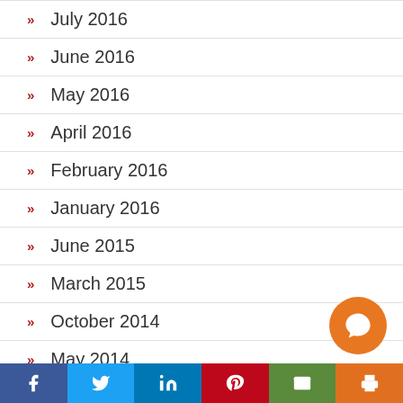July 2016
June 2016
May 2016
April 2016
February 2016
January 2016
June 2015
March 2015
October 2014
May 2014
April 2014
March 2014
November 2013